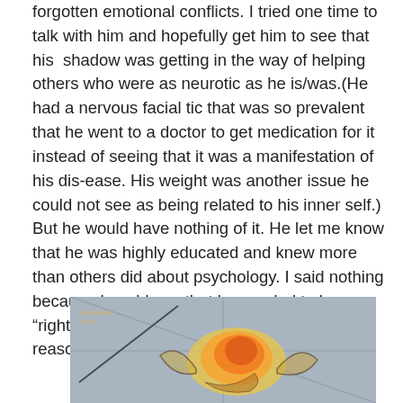forgotten emotional conflicts. I tried one time to talk with him and hopefully get him to see that his shadow was getting in the way of helping others who were as neurotic as he is/was.(He had a nervous facial tic that was so prevalent that he went to a doctor to get medication for it instead of seeing that it was a manifestation of his disease. His weight was another issue he could not see as being related to his inner self.) But he would have nothing of it. He let me know that he was highly educated and knew more than others did about psychology. I said nothing because I could see that he needed to be “right,” instead of being helpful. That is what reason can do for us.
[Figure (photo): A chalk art drawing on pavement showing a colorful swirling flame or phoenix-like design with yellows, oranges, and reds, with some text written in chalk visible in the upper left area of the image.]